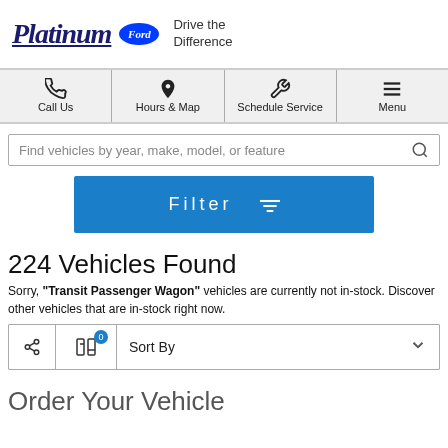[Figure (logo): Platinum Ford logo with Ford oval badge and 'Drive the Difference' tagline]
[Figure (screenshot): Navigation bar with Call Us, Hours & Map, Schedule Service, and Menu icons]
Find vehicles by year, make, model, or feature
Filter
224 Vehicles Found
Sorry, "Transit Passenger Wagon" vehicles are currently not in-stock. Discover other vehicles that are in-stock right now.
Sort By
Order Your Vehicle